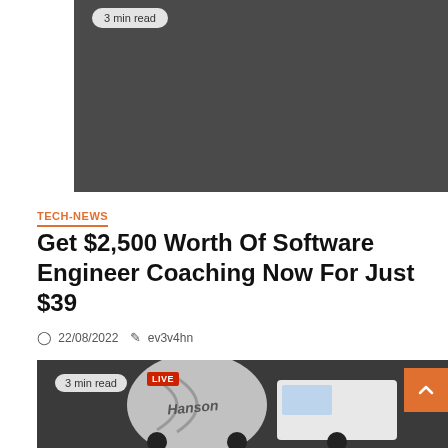[Figure (photo): Dark gray placeholder image area at the top of the page with a '3 min read' badge in the upper left corner]
TECH-NEWS
Get $2,500 Worth Of Software Engineer Coaching Now For Just $39
22/08/2022  ev3v4hn
[Figure (photo): Photo of a Hanson concrete mixer truck in a dark setting, with a '3 min read' badge and a LIVE badge overlay, and an orange scroll-to-top button on the right]